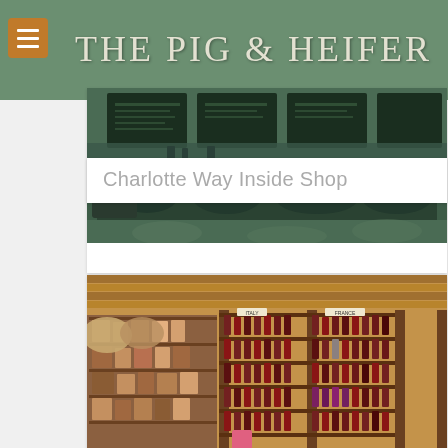THE PIG & HEIFER
[Figure (photo): Interior of The Pig & Heifer deli shop on Charlotte Way, showing a service counter with food display cases, menu boards on the wall, sepia-toned photograph overlaid on green background]
Charlotte Way Inside Shop
[Figure (photo): Interior of a wine shop showing wooden shelving units filled with wine bottles, with labeled sections for different wine varieties, and a display of goods on the left side]